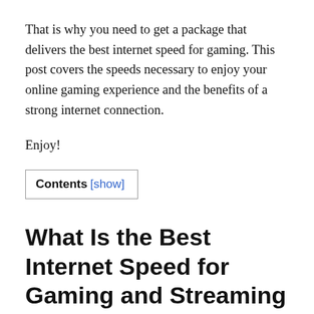That is why you need to get a package that delivers the best internet speed for gaming. This post covers the speeds necessary to enjoy your online gaming experience and the benefits of a strong internet connection.
Enjoy!
Contents [show]
What Is the Best Internet Speed for Gaming and Streaming Different Online